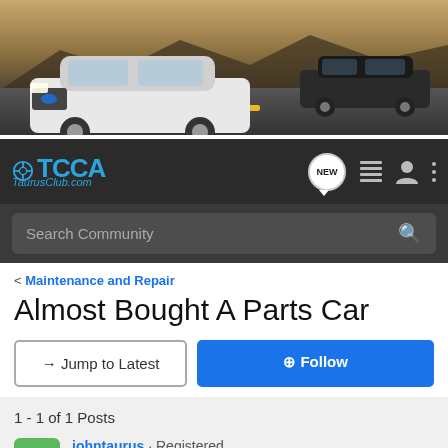[Figure (photo): Header banner showing two Ford Taurus cars on a desert highway, white car in foreground, dark car behind]
[Figure (logo): TCCA TaurusClub.com logo with steering wheel icon, blue text on dark navbar background, with NEW bubble, list icon, person icon, and three-dots menu]
[Figure (screenshot): Search Community search bar on dark background]
< Maintenance and Repair
Almost Bought A Parts Car
→ Jump to Latest
+ Follow
1 - 1 of 1 Posts
johntaurus · Registered
Joined Jan 22, 2003 · 3,034 Posts